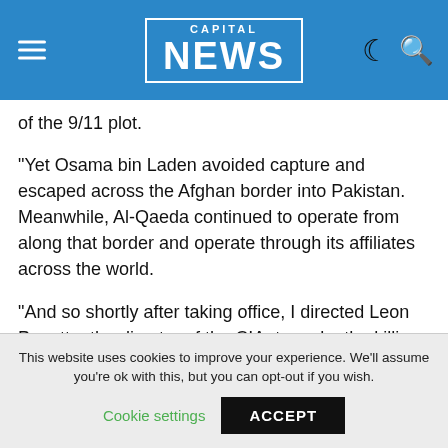CAPITAL NEWS
of the 9/11 plot.
"Yet Osama bin Laden avoided capture and escaped across the Afghan border into Pakistan. Meanwhile, Al-Qaeda continued to operate from along that border and operate through its affiliates across the world.
"And so shortly after taking office, I directed Leon Panetta, the director of the CIA, to make the killing or capture of bin Laden the top priority of our war against Al-Qaeda, even as we continued our broader efforts to disrupt, dismantle, and defeat his network.
This website uses cookies to improve your experience. We'll assume you're ok with this, but you can opt-out if you wish.
Cookie settings    ACCEPT